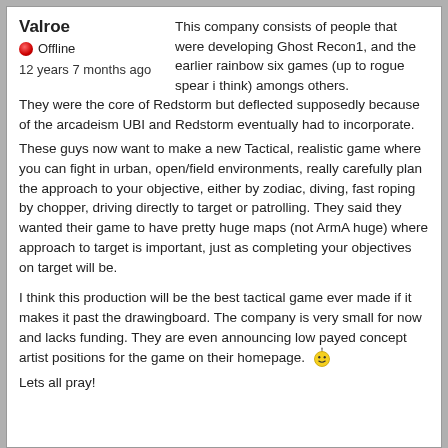Valroe
🔴 Offline
12 years 7 months ago
This company consists of people that were developing Ghost Recon1, and the earlier rainbow six games (up to rogue spear i think) amongs others. They were the core of Redstorm but deflected supposedly because of the arcadeism UBI and Redstorm eventually had to incorporate.
These guys now want to make a new Tactical, realistic game where you can fight in urban, open/field environments, really carefully plan the approach to your objective, either by zodiac, diving, fast roping by chopper, driving directly to target or patrolling. They said they wanted their game to have pretty huge maps (not ArmA huge) where approach to target is important, just as completing your objectives on target will be.
I think this production will be the best tactical game ever made if it makes it past the drawingboard. The company is very small for now and lacks funding. They are even announcing low payed concept artist positions for the game on their homepage. 😊
Lets all pray!